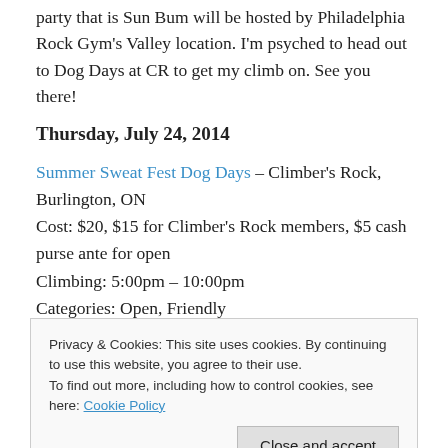party that is Sun Bum will be hosted by Philadelphia Rock Gym's Valley location. I'm psyched to head out to Dog Days at CR to get my climb on. See you there!
Thursday, July 24, 2014
Summer Sweat Fest Dog Days – Climber's Rock, Burlington, ON
Cost: $20, $15 for Climber's Rock members, $5 cash purse ante for open
Climbing: 5:00pm – 10:00pm
Categories: Open, Friendly
Privacy & Cookies: This site uses cookies. By continuing to use this website, you agree to their use.
To find out more, including how to control cookies, see here: Cookie Policy
much of the allotted time as they wish to amass their best